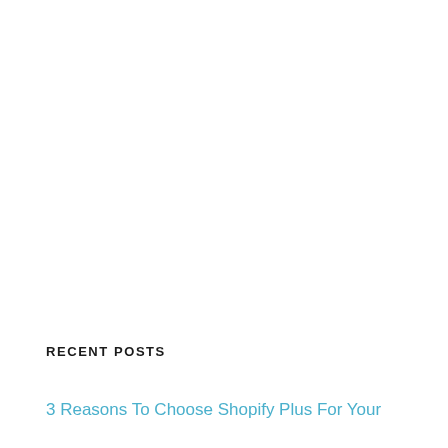RECENT POSTS
3 Reasons To Choose Shopify Plus For Your